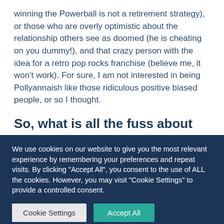winning the Powerball is not a retirement strategy), or those who are overly optimistic about the relationship others see as doomed (he is cheating on you dummy!), and that crazy person with the idea for a retro pop rocks franchise (believe me, it won't work). For sure, I am not interested in being Pollyannaish like those ridiculous positive biased people, or so I thought.
So, what is all the fuss about positive psychology?
We use cookies on our website to give you the most relevant experience by remembering your preferences and repeat visits. By clicking "Accept All", you consent to the use of ALL the cookies. However, you may visit "Cookie Settings" to provide a controlled consent.